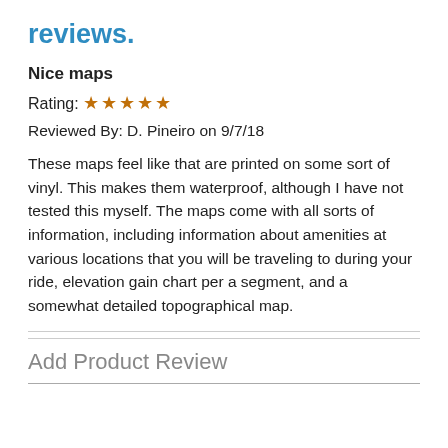reviews.
Nice maps
Rating: ★★★★★
Reviewed By: D. Pineiro on 9/7/18
These maps feel like that are printed on some sort of vinyl. This makes them waterproof, although I have not tested this myself. The maps come with all sorts of information, including information about amenities at various locations that you will be traveling to during your ride, elevation gain chart per a segment, and a somewhat detailed topographical map.
Add Product Review